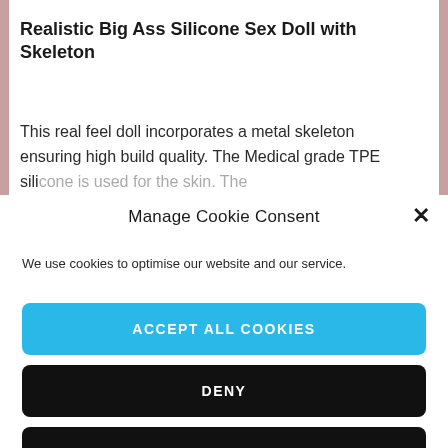Realistic Big Ass Silicone Sex Doll with Skeleton
This real feel doll incorporates a metal skeleton ensuring high build quality.  The Medical grade TPE silicone is used for the skin. The
Manage Cookie Consent
We use cookies to optimise our website and our service.
ACCEPT ALL COOKIES
DENY
VIEW PREFERENCES